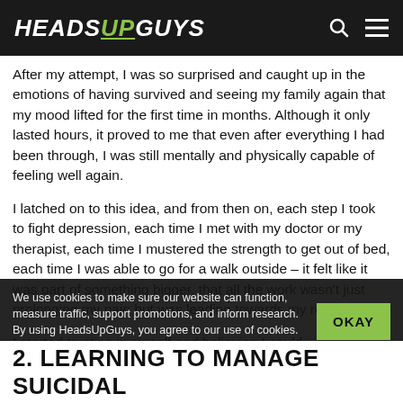HEADS UP GUYS
After my attempt, I was so surprised and caught up in the emotions of having survived and seeing my family again that my mood lifted for the first time in months. Although it only lasted hours, it proved to me that even after everything I had been through, I was still mentally and physically capable of feeling well again.
I latched on to this idea, and from then on, each step I took to fight depression, each time I met with my doctor or my therapist, each time I mustered the strength to get out of bed, each time I was able to go for a walk outside – it felt like it was part of something bigger, that all the work wasn't just prolonging my pain but was leading towards my recovery.
I started trusting in myself and believing I could...
We use cookies to make sure our website can function, measure traffic, support promotions, and inform research. By using HeadsUpGuys, you agree to our use of cookies. See our privacy policy for more info and how to opt-out.
2. LEARNING TO MANAGE SUICIDAL